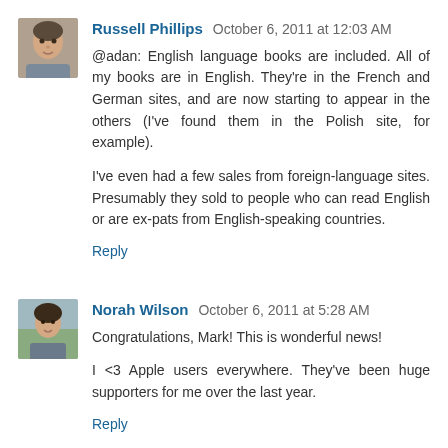[Figure (photo): Avatar photo of Russell Phillips, a person shown from shoulders up]
Russell Phillips  October 6, 2011 at 12:03 AM
@adan: English language books are included. All of my books are in English. They're in the French and German sites, and are now starting to appear in the others (I've found them in the Polish site, for example).

I've even had a few sales from foreign-language sites. Presumably they sold to people who can read English or are ex-pats from English-speaking countries.
Reply
[Figure (photo): Avatar photo of Norah Wilson, a person shown from shoulders up outdoors]
Norah Wilson  October 6, 2011 at 5:28 AM
Congratulations, Mark! This is wonderful news!

I <3 Apple users everywhere. They've been huge supporters for me over the last year.
Reply